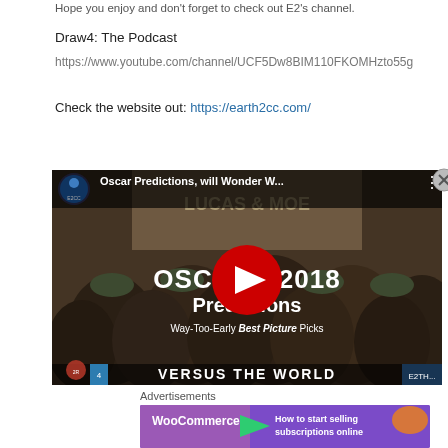Hope you enjoy and don't forget to check out E2's channel.
Draw4: The Podcast
https://www.youtube.com/channel/UCF5Dw8BIM110FKOMHzto55g
Check the website out: https://earth2cc.com/
[Figure (screenshot): YouTube video embed showing 'Oscar Predictions, will Wonder W...' with title overlay 'OSCARS 2018 Predictions Way-Too-Early Best Picture Picks' and a red YouTube play button in the center. Channel logo for E2CC is shown in top-left corner.]
Advertisements
[Figure (screenshot): WooCommerce advertisement banner: purple background with WooCommerce logo and teal arrow, text 'How to start selling subscriptions online' with orange decorative shape on right.]